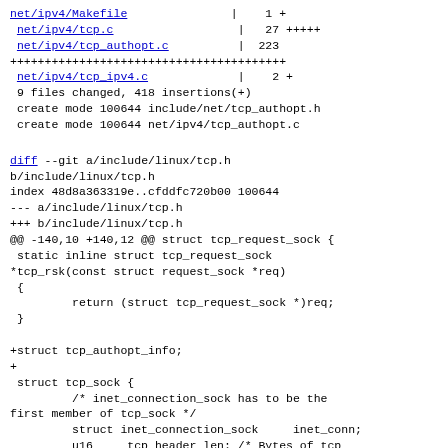net/ipv4/Makefile | 1 +
net/ipv4/tcp.c | 27 +++++
net/ipv4/tcp_authopt.c | 223
++++++++++++++++++++++++++++++++++++++++
net/ipv4/tcp_ipv4.c | 2 +
9 files changed, 418 insertions(+)
create mode 100644 include/net/tcp_authopt.h
create mode 100644 net/ipv4/tcp_authopt.c
diff --git a/include/linux/tcp.h b/include/linux/tcp.h
index 48d8a363319e..cfddfc720b00 100644
--- a/include/linux/tcp.h
+++ b/include/linux/tcp.h
@@ -140,10 +140,12 @@ struct tcp_request_sock {
 static inline struct tcp_request_sock
*tcp_rsk(const struct request_sock *req)
 {
         return (struct tcp_request_sock *)req;
 }

+struct tcp_authopt_info;
+
 struct tcp_sock {
         /* inet_connection_sock has to be the
first member of tcp_sock */
         struct inet_connection_sock     inet_conn;
         u16     tcp_header_len; /* Bytes of tcp
header to send          */
         u16     gso_segs;       /* Max number of